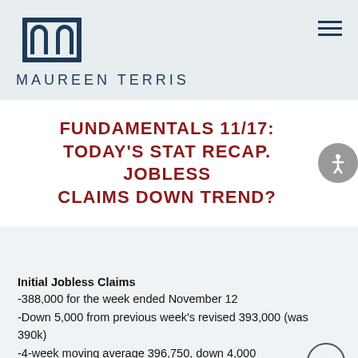[Figure (logo): Maureen Terris logo with stylized M arch icon above the text MAUREEN TERRIS]
FUNDAMENTALS 11/17: TODAY'S STAT RECAP. JOBLESS CLAIMS DOWN TREND?
Initial Jobless Claims
-388,000 for the week ended November 12
-Down 5,000 from previous week's revised 393,000 (was 390k)
-4-week moving average 396,750, down 4,000
-Still high but if sub-400k holds/drops, we've got improving